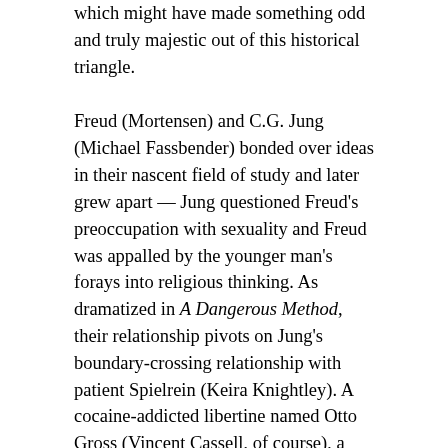which might have made something odd and truly majestic out of this historical triangle.
Freud (Mortensen) and C.G. Jung (Michael Fassbender) bonded over ideas in their nascent field of study and later grew apart — Jung questioned Freud's preoccupation with sexuality and Freud was appalled by the younger man's forays into religious thinking. As dramatized in A Dangerous Method, their relationship pivots on Jung's boundary-crossing relationship with patient Spielrein (Keira Knightley). A cocaine-addicted libertine named Otto Gross (Vincent Cassell, of course), a fellow analyst commended to Jung's care by his mentor, seems to convince Jung that he should be fucking the woman, and for her own good. (She does make herself sexually available, allowing him to minimize his feelings of impropriety.) Stung by Jung's inevitable disavowal of their relationship (like an idiot, he initially lies about it even to Freud himself), Spielrein blossoms on her own, fast